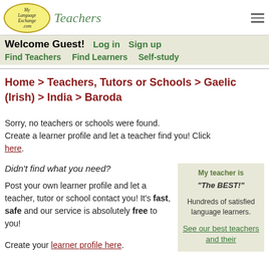MyLanguageExchange.com Teachers
Welcome Guest! Log in Sign up
Find Teachers   Find Learners   Self-study
Home > Teachers, Tutors or Schools > Gaelic (Irish) > India > Baroda
Sorry, no teachers or schools were found. Create a learner profile and let a teacher find you! Click here.
Didn't find what you need?

Post your own learner profile and let a teacher, tutor or school contact you! It's fast, safe and our service is absolutely free to you!

Create your learner profile here.
My teacher is "The BEST!"

Hundreds of satisfied language learners.

See our best teachers and their